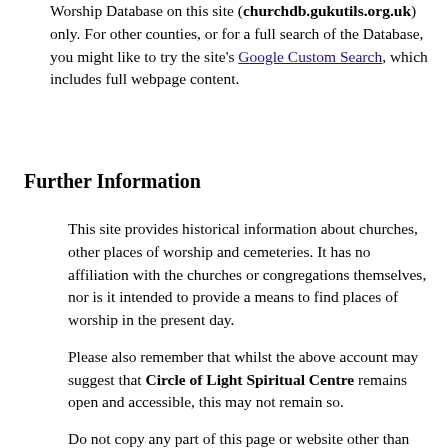Worship Database on this site (churchdb.gukutils.org.uk) only. For other counties, or for a full search of the Database, you might like to try the site's Google Custom Search, which includes full webpage content.
Further Information
This site provides historical information about churches, other places of worship and cemeteries. It has no affiliation with the churches or congregations themselves, nor is it intended to provide a means to find places of worship in the present day.
Please also remember that whilst the above account may suggest that Circle of Light Spiritual Centre remains open and accessible, this may not remain so.
Do not copy any part of this page or website other than for personal use or as given in our Terms and Conditions of Use.
You may wish to take a look at our About the Places of Worship Database page for an overview of the information provided, and any limitations which may